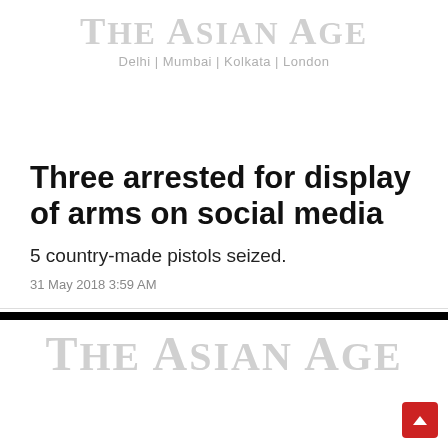THE ASIAN AGE
Delhi | Mumbai | Kolkata | London
Three arrested for display of arms on social media
5 country-made pistols seized.
31 May 2018 3:59 AM
[Figure (logo): The Asian Age newspaper logo repeated at bottom of page]